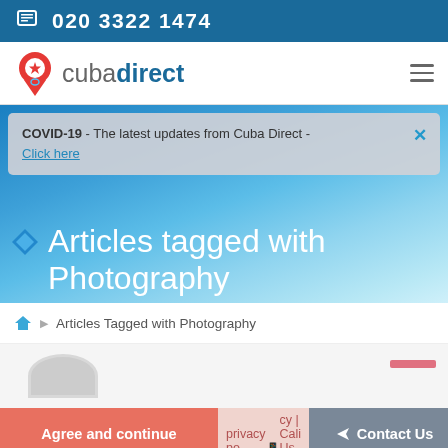020 3322 1474
[Figure (logo): Cuba Direct logo with map pin icon]
COVID-19 - The latest updates from Cuba Direct - Click here
Articles tagged with Photography
Articles Tagged with Photography
This site uses cookies. Read our privacy policy
Agree and continue
Call Us
Contact Us